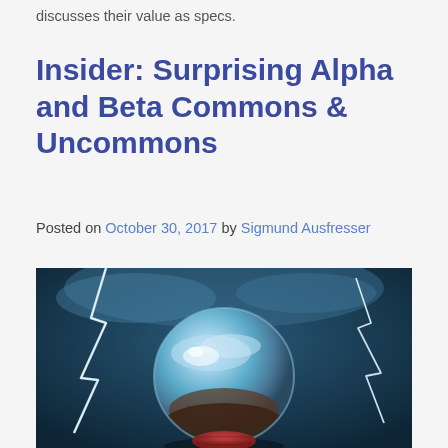discusses their value as specs.
Insider: Surprising Alpha and Beta Commons & Uncommons
Posted on October 30, 2017 by Sigmund Ausfresser
[Figure (illustration): A crystal ball with lightning bolts in the background, painted in a dark blue stormy style. The crystal ball sits on a red base and reflects a light blue sky.]